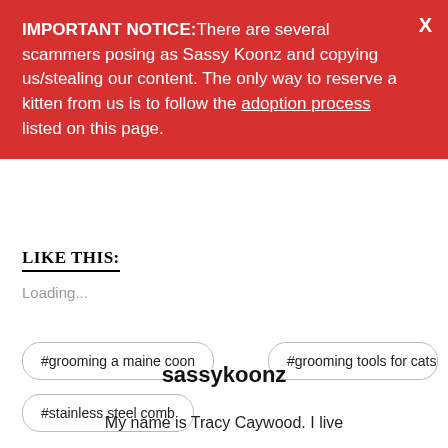IMPORTANT NOTICE:There are several scammers posing as Sassy Koonz and copying us/stealing our content. The only way to reserve a kitten from us is to follow the adoption process listed on this page.
LIKE THIS:
Loading...
#grooming a maine coon
#grooming tools for cats
#stainless steel comb
sassykoonz
My name is Tracy Caywood. I live